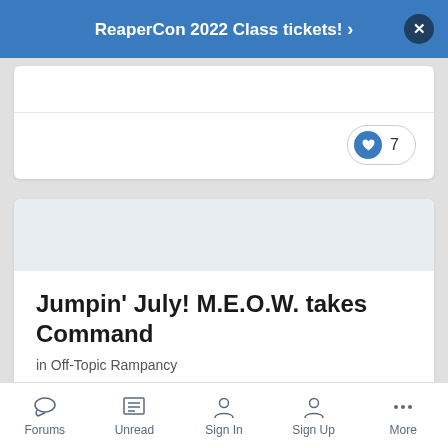ReaperCon 2022 Class tickets! >
[Figure (other): Like button with heart icon showing count of 7]
Jumpin' July! M.E.O.W. takes Command
in Off-Topic Rampancy
Posted July 7
Forums  Unread  Sign In  Sign Up  More